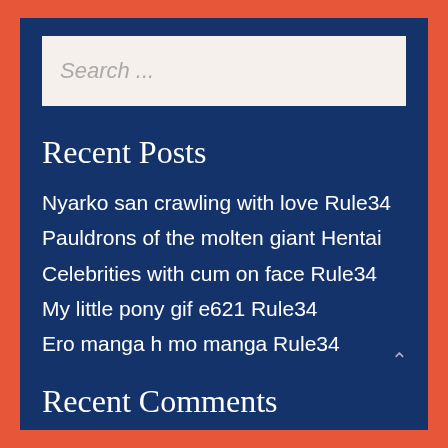Search ...
Recent Posts
Nyarko san crawling with love Rule34
Pauldrons of the molten giant Hentai
Celebrities with cum on face Rule34
My little pony gif e621 Rule34
Ero manga h mo manga Rule34
Recent Comments